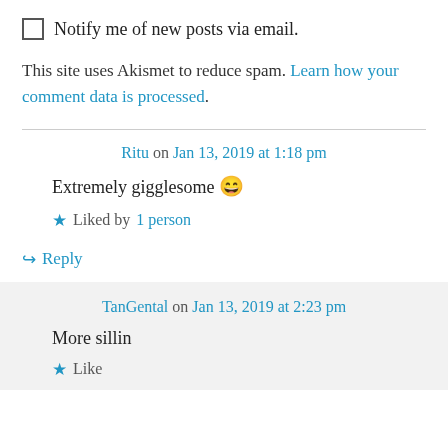Notify me of new posts via email.
This site uses Akismet to reduce spam. Learn how your comment data is processed.
Ritu on Jan 13, 2019 at 1:18 pm
Extremely gigglesome 😄
★ Liked by 1 person
↪ Reply
TanGental on Jan 13, 2019 at 2:23 pm
More sillin
★ Like